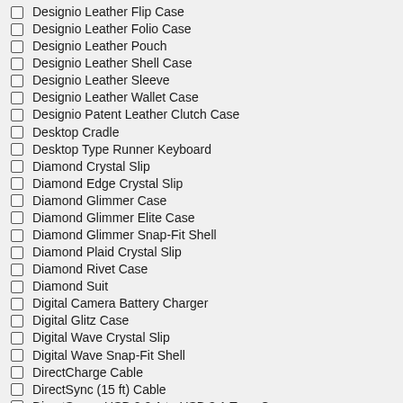Designio Leather Flip Case
Designio Leather Folio Case
Designio Leather Pouch
Designio Leather Shell Case
Designio Leather Sleeve
Designio Leather Wallet Case
Designio Patent Leather Clutch Case
Desktop Cradle
Desktop Type Runner Keyboard
Diamond Crystal Slip
Diamond Edge Crystal Slip
Diamond Glimmer Case
Diamond Glimmer Elite Case
Diamond Glimmer Snap-Fit Shell
Diamond Plaid Crystal Slip
Diamond Rivet Case
Diamond Suit
Digital Camera Battery Charger
Digital Glitz Case
Digital Wave Crystal Slip
Digital Wave Snap-Fit Shell
DirectCharge Cable
DirectSync (15 ft) Cable
DirectSync - USB 2.0 A to USB 3.1 Type C